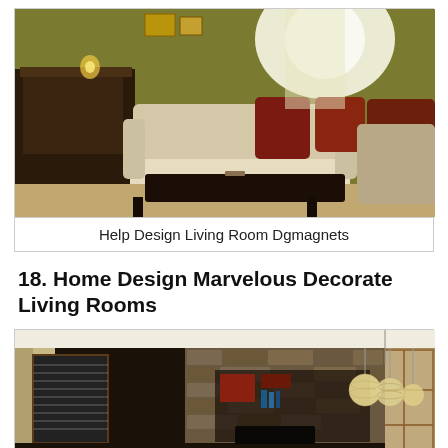[Figure (photo): Indoor living room photo showing a cream/beige sofa with dark red/brown pillows, a dark wooden coffee table, and a wooden cabinet/furniture piece in the background. Warm yellowish-green wall lighting. Cozy interior scene.]
Help Design Living Room Dgmagnets
18. Home Design Marvelous Decorate Living Rooms
[Figure (photo): Modern living room interior render showing pendant globe lights, dark window blinds, stone/brick accent wall, built-in dark shelving unit with red accents, and a white chair. Elegant contemporary design.]